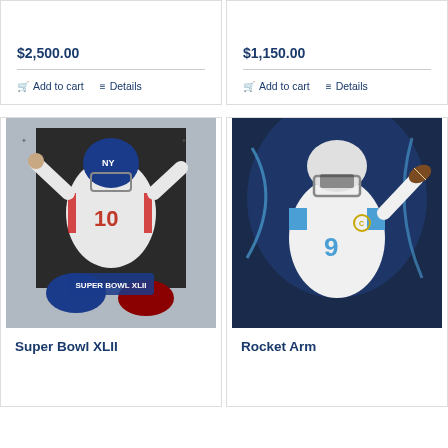$2,500.00
Add to cart
Details
$1,150.00
Add to cart
Details
[Figure (illustration): Painting of NY Giants quarterback #10 celebrating at Super Bowl XLII, with players from both teams around him, Super Bowl XLII logo visible]
[Figure (illustration): Painting of Detroit Lions quarterback #9 in white uniform with captain C patch, throwing a football, blue background with dramatic lighting]
Super Bowl XLII
Rocket Arm